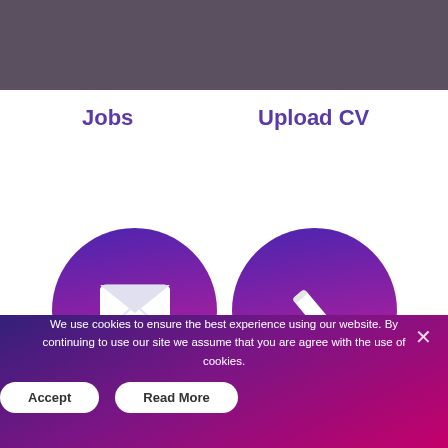[Figure (logo): lbp recruitment logo with pink/purple branding]
[Figure (illustration): Dark circular icons in header: person/search icon and upload arrow icon; white hamburger menu button]
Jobs
Upload CV
[Figure (illustration): Purple-to-pink gradient circle with white envelope icon]
[Figure (illustration): Purple-to-pink gradient circle with white pencil/edit icon]
We use cookies to ensure the best experience using our website. By continuing to use our site we assume that you are agree with the use of cookies.
Accept
Read More